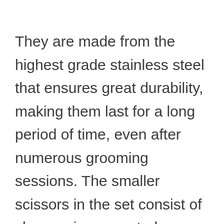They are made from the highest grade stainless steel that ensures great durability, making them last for a long period of time, even after numerous grooming sessions. The smaller scissors in the set consist of sharp, micro-serrated blades, while the longer pair comes with smooth and long blades. This comes in really handy for pet owners paying special attention to sensitive grooming areas of their Golden Retrievers, such as the ears